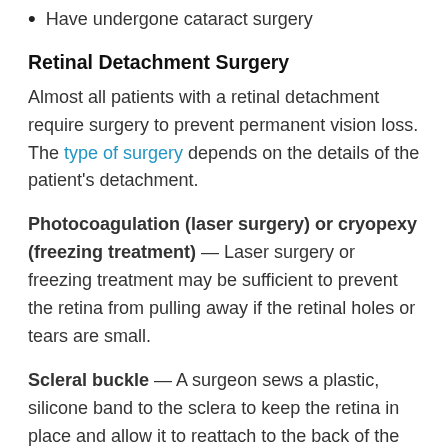Have undergone cataract surgery
Retinal Detachment Surgery
Almost all patients with a retinal detachment require surgery to prevent permanent vision loss. The type of surgery depends on the details of the patient's detachment.
Photocoagulation (laser surgery) or cryopexy (freezing treatment) — Laser surgery or freezing treatment may be sufficient to prevent the retina from pulling away if the retinal holes or tears are small.
Scleral buckle — A surgeon sews a plastic, silicone band to the sclera to keep the retina in place and allow it to reattach to the back of the